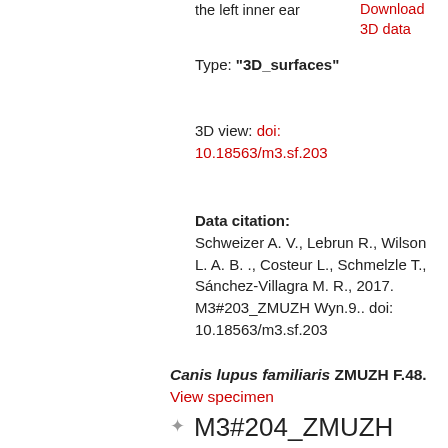the left inner ear
Download 3D data
Type: "3D_surfaces"
3D view: doi: 10.18563/m3.sf.203
Data citation: Schweizer A. V., Lebrun R., Wilson L. A. B. ., Costeur L., Schmelzle T., Sánchez-Villagra M. R., 2017. M3#203_ZMUZH Wyn.9.. doi: 10.18563/m3.sf.203
Canis lupus familiaris ZMUZH F.48. View specimen
M3#204_ZMUZH F.48.